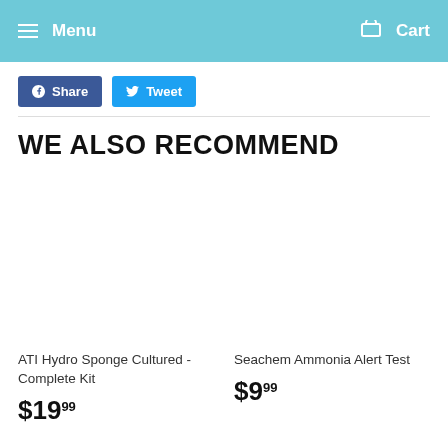Menu  Cart
Share  Tweet
WE ALSO RECOMMEND
ATI Hydro Sponge Cultured - Complete Kit
$19⁹⁹
Seachem Ammonia Alert Test
$9⁹⁹